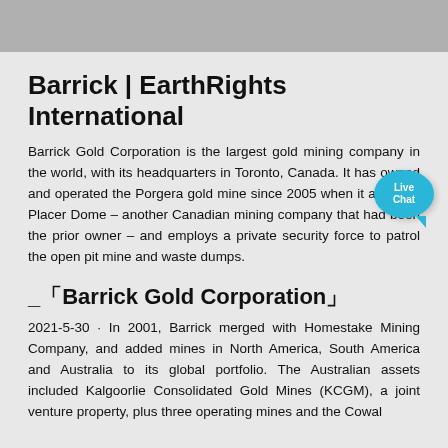Barrick | EarthRights International
Barrick Gold Corporation is the largest gold mining company in the world, with its headquarters in Toronto, Canada. It has owned and operated the Porgera gold mine since 2005 when it acquired Placer Dome – another Canadian mining company that had been the prior owner – and employs a private security force to patrol the open pit mine and waste dumps.
「Barrick Gold Corporation」
2021-5-30 · In 2001, Barrick merged with Homestake Mining Company, and added mines in North America, South America and Australia to its global portfolio. The Australian assets included Kalgoorlie Consolidated Gold Mines (KCGM), a joint venture property, plus three operating mines and the Cowal